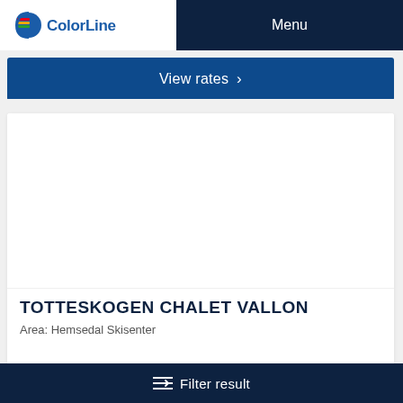Color Line | Menu
View rates >
[Figure (photo): White/empty image area placeholder for Totteskogen Chalet Vallon property photo]
TOTTESKOGEN CHALET VALLON
Area: Hemsedal Skisenter
Filter result